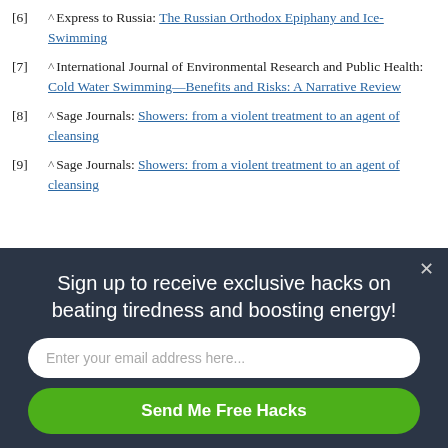[6] ^ Express to Russia: The Russian Orthodox Epiphany and Ice-Swimming
[7] ^ International Journal of Environmental Research and Public Health: Cold Water Swimming—Benefits and Risks: A Narrative Review
[8] ^ Sage Journals: Showers: from a violent treatment to an agent of cleansing
[9] ^ Sage Journals: Showers: from a violent treatment to an agent of cleansing
[Figure (other): Email signup modal overlay with dark navy background. Contains text 'Sign up to receive exclusive hacks on beating tiredness and boosting energy!', an email input field, and a green 'Send Me Free Hacks' button. A close (×) button is in the top right.]